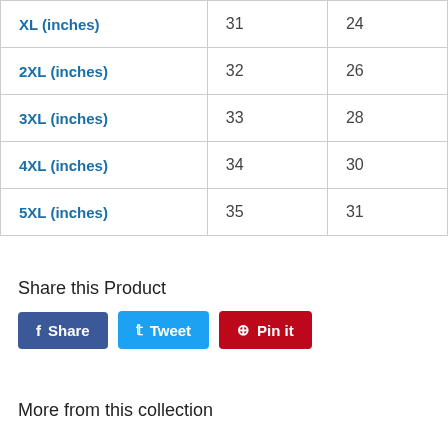| XL (inches) | 31 | 24 |
| 2XL (inches) | 32 | 26 |
| 3XL (inches) | 33 | 28 |
| 4XL (inches) | 34 | 30 |
| 5XL (inches) | 35 | 31 |
Share this Product
Share  Tweet  Pin it
More from this collection